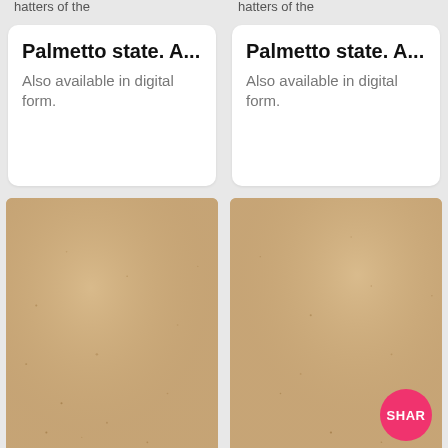Palmetto state. A...
Also available in digital form.
Palmetto state. A...
Also available in digital form.
[Figure (photo): Scanned aged/yellowed blank document page (left)]
[Figure (photo): Scanned aged/yellowed blank document page (right) with pink SHARE button overlay in bottom-right corner]